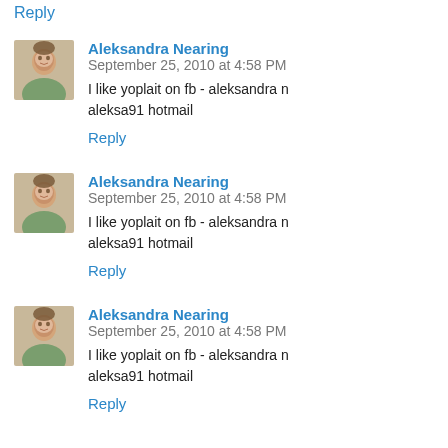Reply
Aleksandra Nearing   September 25, 2010 at 4:58 PM
I like yoplait on fb - aleksandra n
aleksa91 hotmail
Reply
Aleksandra Nearing   September 25, 2010 at 4:58 PM
I like yoplait on fb - aleksandra n
aleksa91 hotmail
Reply
Aleksandra Nearing   September 25, 2010 at 4:58 PM
I like yoplait on fb - aleksandra n
aleksa91 hotmail
Reply